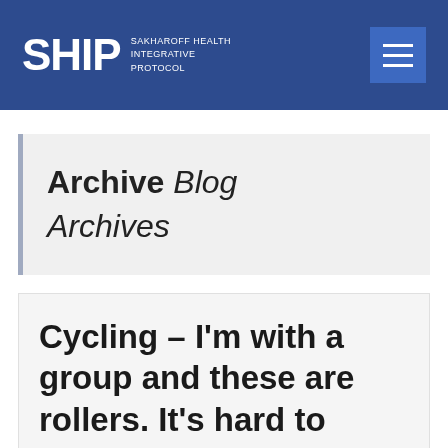SHIP SAKHAROFF HEALTH INTEGRATIVE PROTOCOL
Archive Blog Archives
Cycling – I'm with a group and these are rollers. It's hard to have a slower pace to